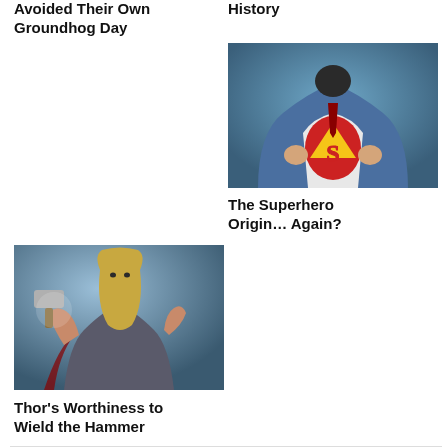Avoided Their Own Groundhog Day
History
[Figure (photo): Superman opening his shirt to reveal the Superman logo costume underneath — comic book style illustration]
The Superhero Origin… Again?
[Figure (photo): Thor character with long blond hair in a dramatic pose, movie style image]
Thor's Worthiness to Wield the Hammer